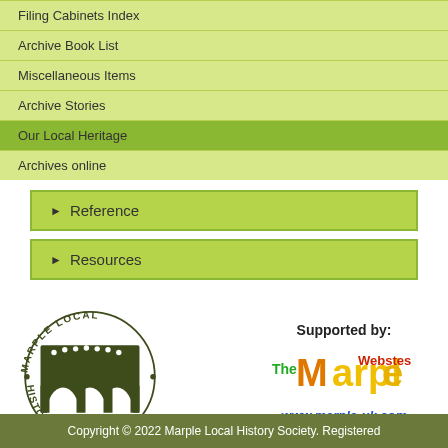Filing Cabinets Index
Archive Book List
Miscellaneous Items
Archive Stories
Our Local Heritage
Archives online
Reference
Resources
[Figure (logo): Marple Local History Society logo — circular text around an arch/viaduct icon]
Supported by:
[Figure (logo): The Marple Websters logo in orange, gold and red stylized text]
www.marple-uk.com
Copyright © 2022 Marple Local History Society. Registered